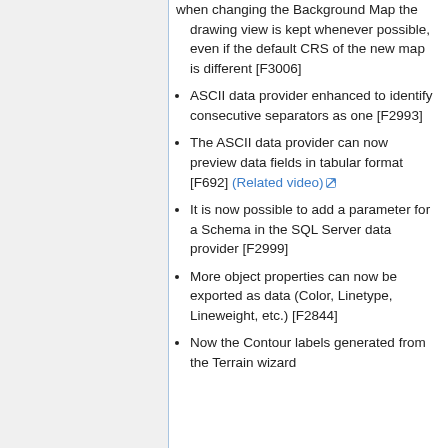when changing the Background Map the drawing view is kept whenever possible, even if the default CRS of the new map is different [F3006]
ASCII data provider enhanced to identify consecutive separators as one [F2993]
The ASCII data provider can now preview data fields in tabular format [F692] (Related video)
It is now possible to add a parameter for a Schema in the SQL Server data provider [F2999]
More object properties can now be exported as data (Color, Linetype, Lineweight, etc.) [F2844]
Now the Contour labels generated from the Terrain wizard